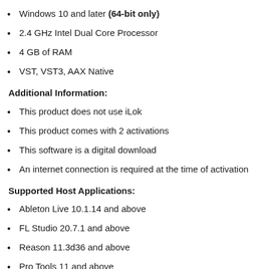Windows 10 and later (64-bit only)
2.4 GHz Intel Dual Core Processor
4 GB of RAM
VST, VST3, AAX Native
Additional Information:
This product does not use iLok
This product comes with 2 activations
This software is a digital download
An internet connection is required at the time of activation
Supported Host Applications:
Ableton Live 10.1.14 and above
FL Studio 20.7.1 and above
Reason 11.3d36 and above
Pro Tools 11 and above
Logic Pro X 10.4.6 and above